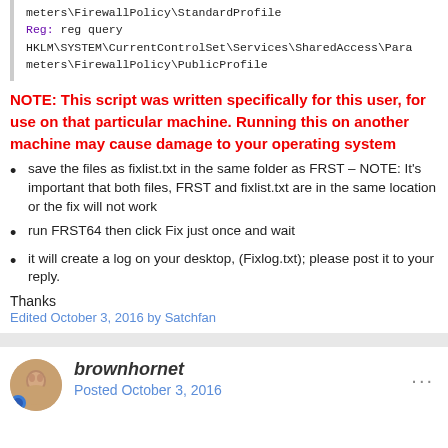meters\FirewallPolicy\StandardProfile
Reg: reg query HKLM\SYSTEM\CurrentControlSet\Services\SharedAccess\Parameters\FirewallPolicy\PublicProfile
NOTE: This script was written specifically for this user, for use on that particular machine. Running this on another machine may cause damage to your operating system
save the files as fixlist.txt in the same folder as FRST – NOTE: It's important that both files, FRST and fixlist.txt are in the same location or the fix will not work
run FRST64 then click Fix just once and wait
it will create a log on your desktop, (Fixlog.txt); please post it to your reply.
Thanks
Edited October 3, 2016 by Satchfan
brownhornet
Posted October 3, 2016